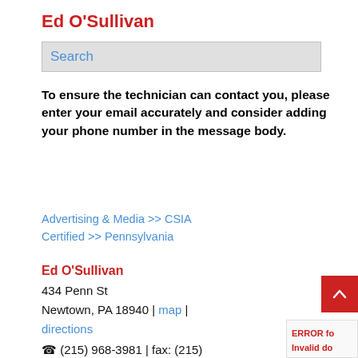Ed O'Sullivan
[Figure (screenshot): Search input box with placeholder text 'Search']
To ensure the technician can contact you, please enter your email accurately and consider adding your phone number in the message body.
Advertising & Media >> CSIA Certified >> Pennsylvania
Ed O'Sullivan
434 Penn St
Newtown, PA 18940 | map | directions
☎ (215) 968-3981 | fax: (215) 968-3985